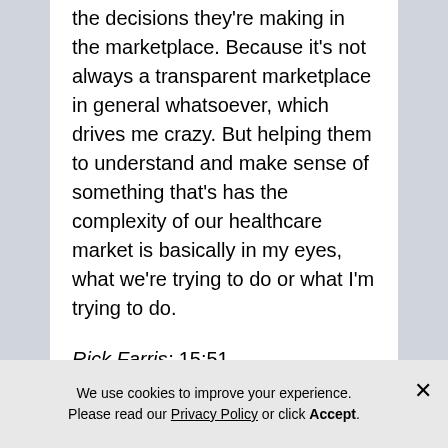the decisions they're making in the marketplace. Because it's not always a transparent marketplace in general whatsoever, which drives me crazy. But helping them to understand and make sense of something that's has the complexity of our healthcare market is basically in my eyes, what we're trying to do or what I'm trying to do.
Rick Farris: 15:51
Yeah, and you know, for those listening, when we
We use cookies to improve your experience. Please read our Privacy Policy or click Accept.